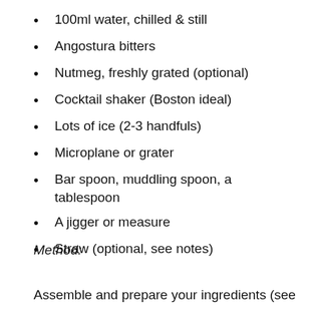100ml water, chilled & still
Angostura bitters
Nutmeg, freshly grated (optional)
Cocktail shaker (Boston ideal)
Lots of ice (2-3 handfuls)
Microplane or grater
Bar spoon, muddling spoon, a tablespoon
A jigger or measure
Straw (optional, see notes)
Method:
Assemble and prepare your ingredients (see